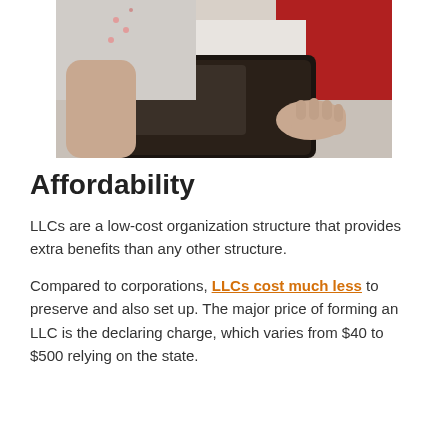[Figure (photo): Close-up photo of a person in a red shirt and white apron handling a dark laptop or tablet device]
Affordability
LLCs are a low-cost organization structure that provides extra benefits than any other structure.
Compared to corporations, LLCs cost much less to preserve and also set up. The major price of forming an LLC is the declaring charge, which varies from $40 to $500 relying on the state.